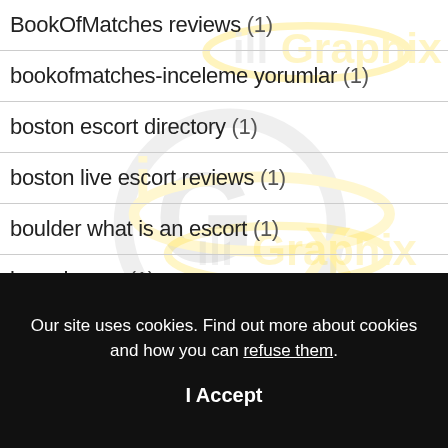BookOfMatches reviews (1)
bookofmatches-inceleme yorumlar (1)
boston escort directory (1)
boston live escort reviews (1)
boulder what is an escort (1)
brancher pc (1)
Our site uses cookies. Find out more about cookies and how you can refuse them.
I Accept